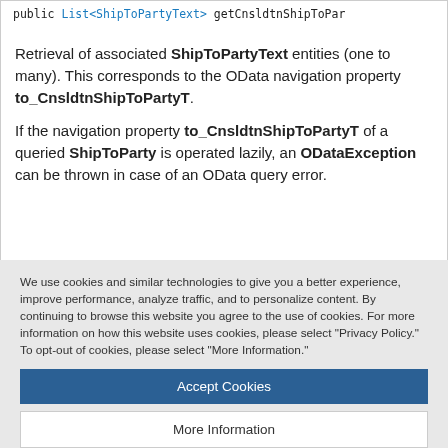public List<ShipToPartyText> getCnsldtnShipToPar...
Retrieval of associated ShipToPartyText entities (one to many). This corresponds to the OData navigation property to_CnsldtnShipToPartyT. If the navigation property to_CnsldtnShipToPartyT of a queried ShipToParty is operated lazily, an ODataException can be thrown in case of an OData query error.
We use cookies and similar technologies to give you a better experience, improve performance, analyze traffic, and to personalize content. By continuing to browse this website you agree to the use of cookies. For more information on how this website uses cookies, please select "Privacy Policy." To opt-out of cookies, please select "More Information."
Accept Cookies
More Information
Privacy Policy | Powered by: TrustArc
List of associated ShipToPartyText entities